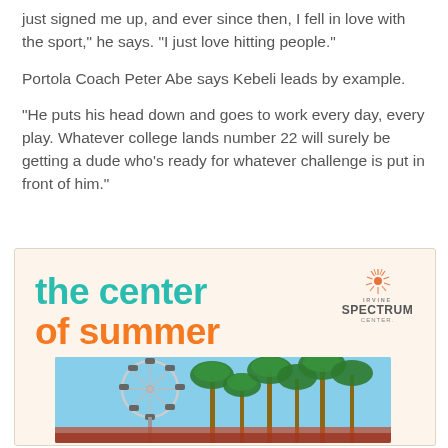just signed me up, and ever since then, I fell in love with the sport," he says. "I just love hitting people."
Portola Coach Peter Abe says Kebeli leads by example.
"He puts his head down and goes to work every day, every play. Whatever college lands number 22 will surely be getting a dude who's ready for whatever challenge is put in front of him."
[Figure (infographic): Irvine Spectrum Center advertisement with teal and orange text reading 'the center of summer' alongside a photo of a ferris wheel and palm trees.]